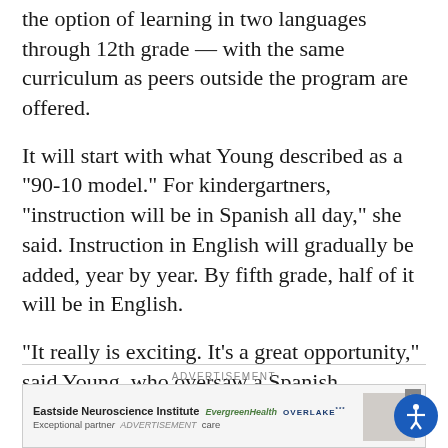the option of learning in two languages through 12th grade — with the same curriculum as peers outside the program are offered.
It will start with what Young described as a “90-10 model.” For kindergartners, “instruction will be in Spanish all day,” she said. Instruction in English will gradually be added, year by year. By fifth grade, half of it will be in English.
“It really is exciting. It’s a great opportunity,” said Young, who oversaw a Spanish immersion program in the Bellevue School District. She spent 18 years there, and was the district’s world language curriculum developer.
[Figure (other): Advertisement banner: ADVERTISEMENT label above, followed by an ad for Eastside Neuroscience Institute, EvergreenHealth, and Overlake, with text 'Exceptional partner care' and a photo of a woman. A close button (X) is visible. An accessibility icon button is in the bottom-right corner.]